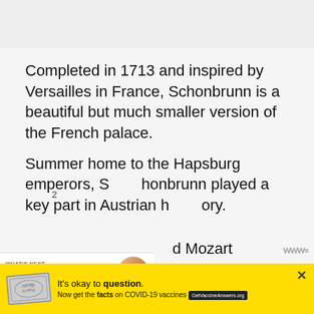[Figure (photo): Partial top image area, appears to be a landscape or building photo, mostly cropped out]
Completed in 1713 and inspired by Versailles in France, Schonbrunn is a beautiful but much smaller version of the French palace.
Summer home to the Hapsburg emperors, Schonbrunn played a key part in Austrian history.
...d Mozart performed a concert in the palace's Hall of Mirrors, and Napoleon once stationed his headquarters in its elaborate ro...
[Figure (screenshot): UI overlay elements: heart/favorite button (dark circle), share button (white circle with share icon), scroll-up button (teal square with up arrow), 'What's Next' panel with thumbnail of city aerial photo and text '20 Things To Do In Phoen...']
[Figure (screenshot): Yellow advertisement banner: stamp image, text 'It’s okay to question. Now get the facts on COVID-19 vaccines', GetVaccineAnswers.org button, close X button]